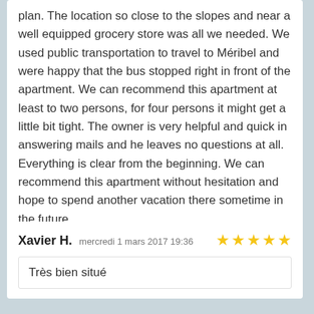plan. The location so close to the slopes and near a well equipped grocery store was all we needed. We used public transportation to travel to Méribel and were happy that the bus stopped right in front of the apartment. We can recommend this apartment at least to two persons, for four persons it might get a little bit tight. The owner is very helpful and quick in answering mails and he leaves no questions at all. Everything is clear from the beginning. We can recommend this apartment without hesitation and hope to spend another vacation there sometime in the future.
Xavier H.  mercredi 1 mars 2017 19:36  ★★★★★
Très bien situé